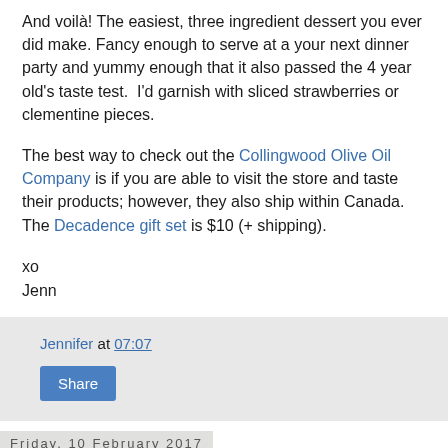And voilà! The easiest, three ingredient dessert you ever did make. Fancy enough to serve at a your next dinner party and yummy enough that it also passed the 4 year old's taste test. I'd garnish with sliced strawberries or clementine pieces.
The best way to check out the Collingwood Olive Oil Company is if you are able to visit the store and taste their products; however, they also ship within Canada. The Decadence gift set is $10 (+ shipping).
xo
Jenn
Jennifer at 07:07
Share
Friday, 10 February 2017
Celebrate Valentine's Day With a